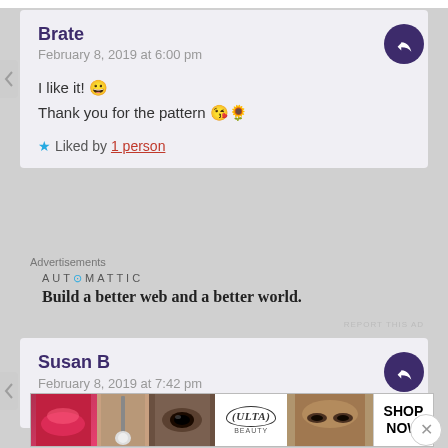Brate
February 8, 2019 at 6:00 pm
I like it! 😀
Thank you for the pattern 😘🌻
★ Liked by 1 person
Advertisements
[Figure (logo): Automattic logo and tagline: Build a better web and a better world.]
REPORT THIS AD
Susan B
February 8, 2019 at 7:42 pm
Advertisements
[Figure (screenshot): Ulta beauty advertisement banner with makeup images and SHOP NOW text]